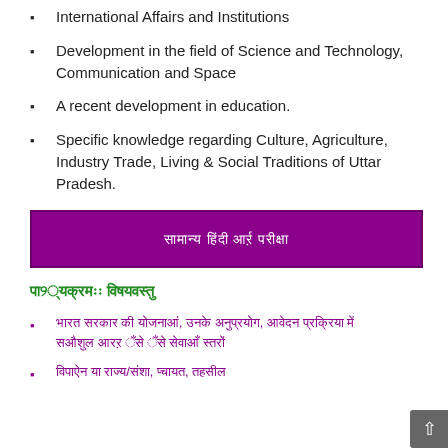International Affairs and Institutions
Development in the field of Science and Technology, Communication and Space
A recent development in education.
Specific knowledge regarding Culture, Agriculture, Industry Trade, Living & Social Traditions of Uttar Pradesh.
[Hindi text: banner]
[Hindi text: section header]
[Hindi text: list item 1]
[Hindi text: list item 2]